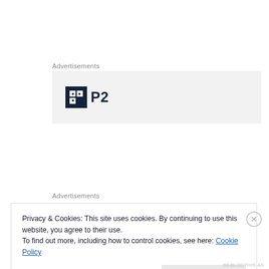Advertisements
[Figure (logo): P2 logo: dark square icon with white grid symbol and 'P2' text in dark navy]
Advertisements
Privacy & Cookies: This site uses cookies. By continuing to use this website, you agree to their use.
To find out more, including how to control cookies, see here: Cookie Policy
Close and accept